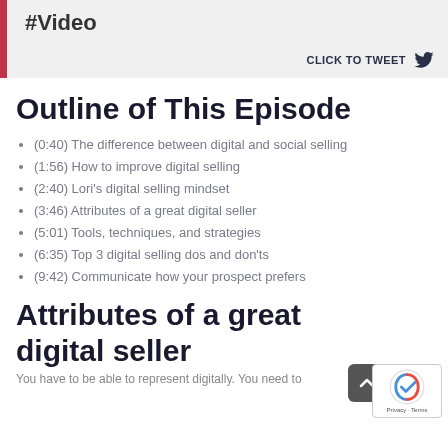#Video
CLICK TO TWEET
Outline of This Episode
(0:40) The difference between digital and social selling
(1:56) How to improve digital selling
(2:40) Lori's digital selling mindset
(3:46) Attributes of a great digital seller
(5:01) Tools, techniques, and strategies
(6:35) Top 3 digital selling dos and don'ts
(9:42) Communicate how your prospect prefers
Attributes of a great digital seller
You have to be able to represent digitally. You need to